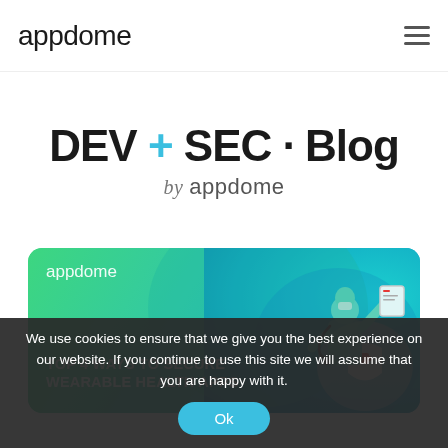appdome  ≡
DEV + SEC · Blog by appdome
[Figure (illustration): Appdome branded card with teal/green gradient background showing a doctor/person in teal holding a tablet. Text reads: appdome, TOP 4 WAYS TO SECURE WEARABLE HEALTH APPS]
We use cookies to ensure that we give you the best experience on our website. If you continue to use this site we will assume that you are happy with it.
Ok